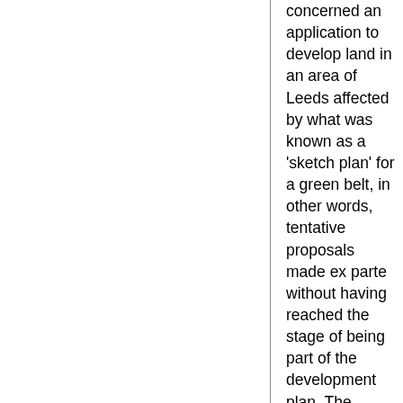concerned an application to develop land in an area of Leeds affected by what was known as a 'sketch plan' for a green belt, in other words, tentative proposals made ex parte without having reached the stage of being part of the development plan. The argument (which did not in the result succeed) was that there was a duty on the Minister to address his mind to the question whether the